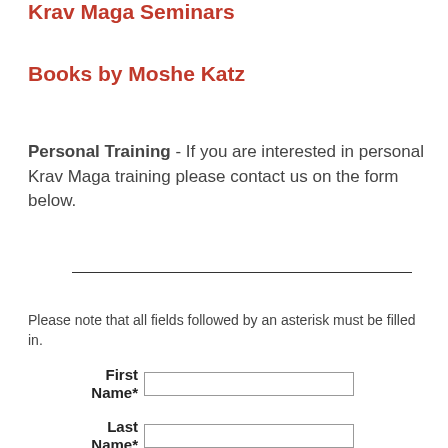Krav Maga Seminars
Books by Moshe Katz
Personal Training - If you are interested in personal Krav Maga training please contact us on the form below.
Please note that all fields followed by an asterisk must be filled in.
First Name*
Last Name*